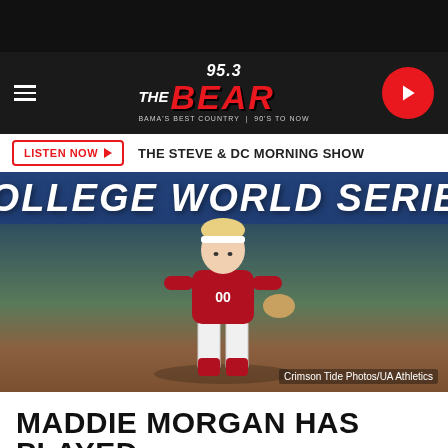[Figure (logo): 95.3 The Bear radio station logo — 'BEAR' in large red italic letters, tagline 'BAMA'S BEST COUNTRY | 90'S TO NOW']
LISTEN NOW ▶  THE STEVE & DC MORNING SHOW
[Figure (photo): Softball player wearing Alabama Crimson Tide uniform number 00, fielding position, in front of a College World Series banner. Photo credit: Crimson Tide Photos/UA Athletics]
MADDIE MORGAN HAS PLAYED